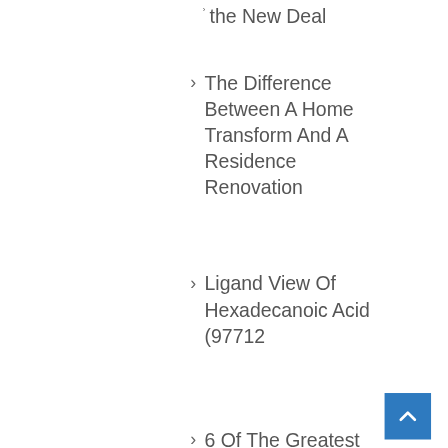The Difference Between A Home Transform And A Residence Renovation
Ligand View Of Hexadecanoic Acid (97712
6 Of The Greatest